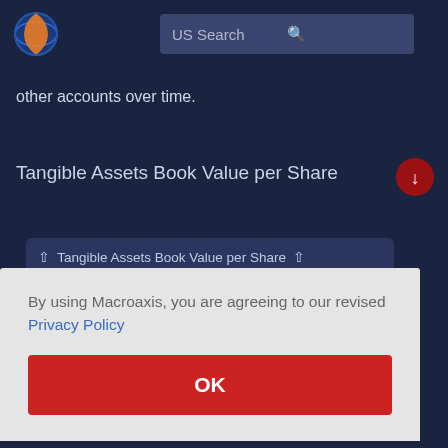[Figure (logo): Macroaxis globe logo — orange and blue circular planet icon]
US Search
other accounts over time.
Tangible Assets Book Value per Share
↑ Tangible Assets Book Value per Share ↑
By using Macroaxis, you are agreeing to our revised Privacy Policy
OK